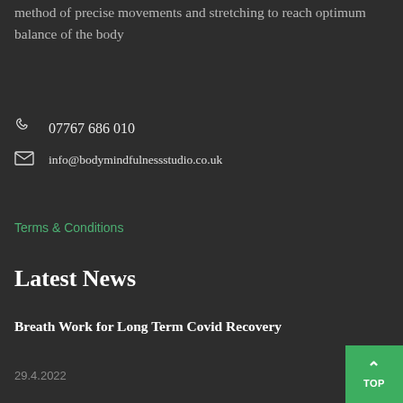...which Body Balance is a practising method of precise movements and stretching to reach optimum balance of the body
07767 686 010
info@bodymindfulnessstudio.co.uk
Terms & Conditions
Latest News
Breath Work for Long Term Covid Recovery
29.4.2022